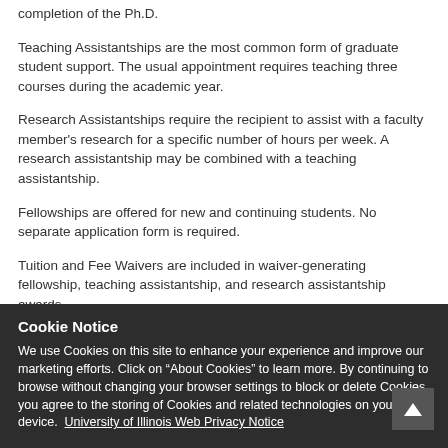completion of the Ph.D.
Teaching Assistantships are the most common form of graduate student support. The usual appointment requires teaching three courses during the academic year.
Research Assistantships require the recipient to assist with a faculty member's research for a specific number of hours per week. A research assistantship may be combined with a teaching assistantship.
Fellowships are offered for new and continuing students. No separate application form is required.
Tuition and Fee Waivers are included in waiver-generating fellowship, teaching assistantship, and research assistantship awards.
Graduate students in French may spend the academic year abroad under exchange agreements with universities in France, Belgium, and Canada, employed as teaching assistants.
Cookie Notice
We use Cookies on this site to enhance your experience and improve our marketing efforts. Click on “About Cookies” to learn more. By continuing to browse without changing your browser settings to block or delete Cookies, you agree to the storing of Cookies and related technologies on your device. University of Illinois Web Privacy Notice